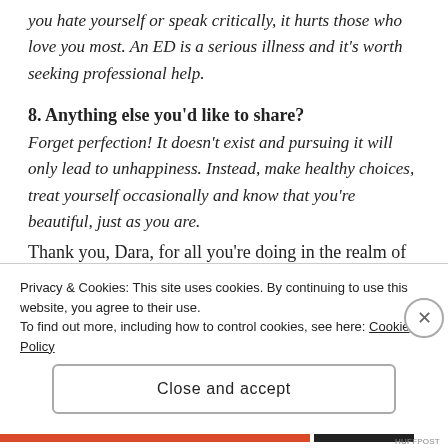you hate yourself or speak critically, it hurts those who love you most. An ED is a serious illness and it's worth seeking professional help.
8. Anything else you'd like to share?
Forget perfection! It doesn't exist and pursuing it will only lead to unhappiness. Instead, make healthy choices, treat yourself occasionally and know that you're beautiful, just as you are.
Thank you, Dara, for all you're doing in the realm of encouraging positive body image for our daughters and future generations. It might take a village, but
Privacy & Cookies: This site uses cookies. By continuing to use this website, you agree to their use.
To find out more, including how to control cookies, see here: Cookie Policy
Close and accept